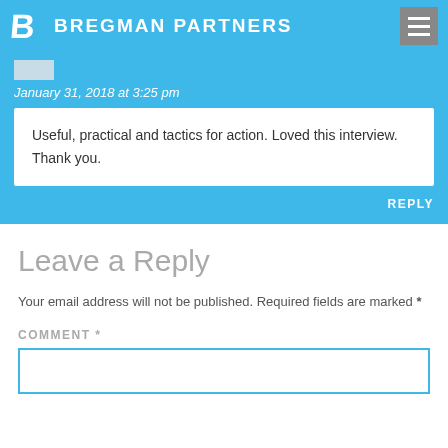BREGMAN PARTNERS
January 31, 2018 at 3:25 pm
Useful, practical and tactics for action. Loved this interview. Thank you.
REPLY
Leave a Reply
Your email address will not be published. Required fields are marked *
COMMENT *